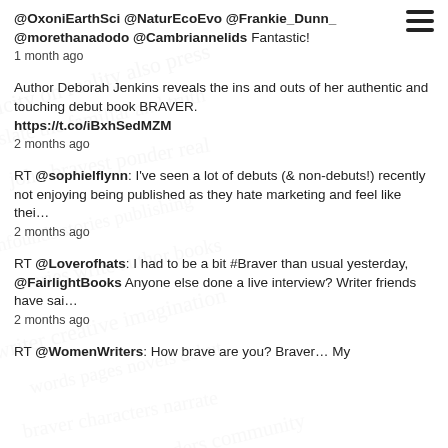[Figure (other): Hamburger menu icon (three horizontal lines) in top right corner]
@OxoniEarthSci @NaturEcoEvo @Frankie_Dunn_ @morethanadodo @Cambriannelids Fantastic!
1 month ago
Author Deborah Jenkins reveals the ins and outs of her authentic and touching debut book BRAVER.
https://t.co/iBxhSedMZM
2 months ago
RT @sophielflynn: I've seen a lot of debuts (& non-debuts!) recently not enjoying being published as they hate marketing and feel like thei…
2 months ago
RT @Loverofhats: I had to be a bit #Braver than usual yesterday, @FairlightBooks Anyone else done a live interview? Writer friends have sai…
2 months ago
RT @WomenWriters: How brave are you? Braver... My